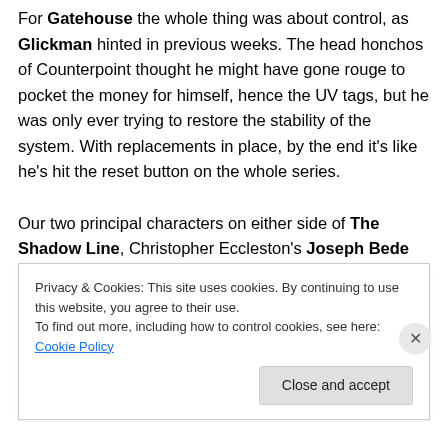For Gatehouse the whole thing was about control, as Glickman hinted in previous weeks. The head honchos of Counterpoint thought he might have gone rouge to pocket the money for himself, hence the UV tags, but he was only ever trying to restore the stability of the system. With replacements in place, by the end it's like he's hit the reset button on the whole series.

Our two principal characters on either side of The Shadow Line, Christopher Eccleston's Joseph Bede and Chiwetel Ejiofor's Jonah Gabriel, are both extinguished.
Privacy & Cookies: This site uses cookies. By continuing to use this website, you agree to their use.
To find out more, including how to control cookies, see here: Cookie Policy